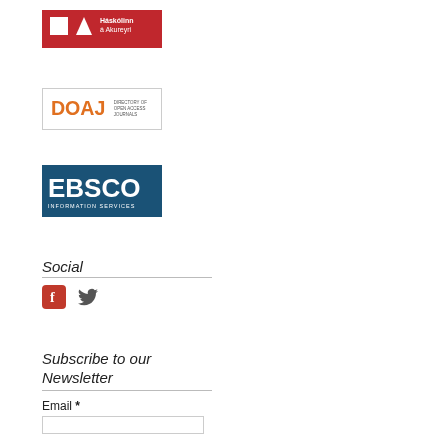[Figure (logo): Háskólinn á Akureyri university logo — red background with white geometric shapes and white text]
[Figure (logo): DOAJ Directory of Open Access Journals logo — orange DOA| text with small text, bordered box]
[Figure (logo): EBSCO Information Services logo — teal/blue bordered box with large white EBSCO text and smaller INFORMATION SERVICES text]
Social
[Figure (infographic): Facebook icon (red square with f) and Twitter bird icon]
Subscribe to our Newsletter
Email *